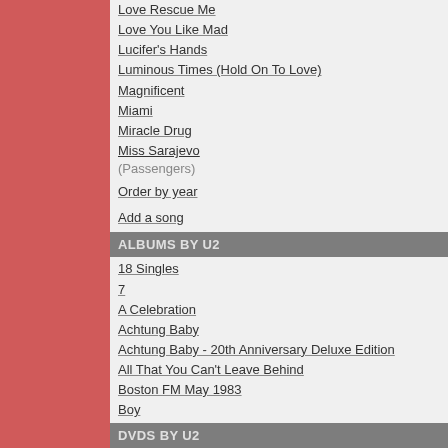Love Rescue Me
Love You Like Mad
Lucifer's Hands
Luminous Times (Hold On To Love)
Magnificent
Miami
Miracle Drug
Miss Sarajevo (Passengers)
Order by year
Add a song
ALBUMS BY U2
18 Singles
7
A Celebration
Achtung Baby
Achtung Baby - 20th Anniversary Deluxe Edition
All That You Can't Leave Behind
Boston FM May 1983
Boy
Collector's Box
Do It Again
How To Dismantle An Atomic Bomb
Live At Red Rocks "Under A Blood Red Sky"
Live From Paris
No Line On The Horizon
October
Original Soundtracks 1 (Passengers)
Pop
Rattle And Hum
Remixes From The '90s
Add an album
DVDS BY U2